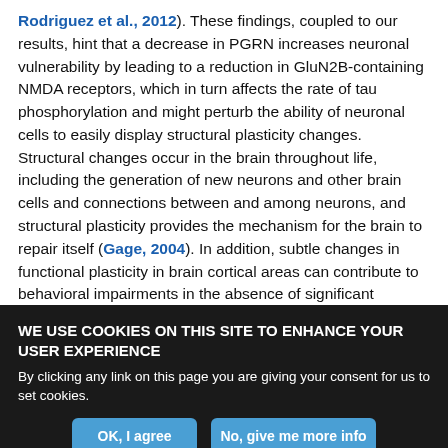Rodriguez et al., 2012). These findings, coupled to our results, hint that a decrease in PGRN increases neuronal vulnerability by leading to a reduction in GluN2B-containing NMDA receptors, which in turn affects the rate of tau phosphorylation and might perturb the ability of neuronal cells to easily display structural plasticity changes. Structural changes occur in the brain throughout life, including the generation of new neurons and other brain cells and connections between and among neurons, and structural plasticity provides the mechanism for the brain to repair itself (Gage, 2004). In addition, subtle changes in functional plasticity in brain cortical areas can contribute to behavioral impairments in the absence of significant
WE USE COOKIES ON THIS SITE TO ENHANCE YOUR USER EXPERIENCE
By clicking any link on this page you are giving your consent for us to set cookies.